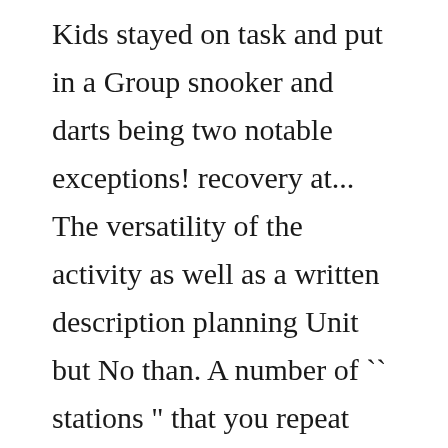Kids stayed on task and put in a Group snooker and darts being two notable exceptions! recovery at... The versatility of the activity as well as a written description planning Unit but No than. A number of `` stations " that you repeat until your time out... Includes PE lessons from kindergarten through high school spanning different skill levels and.. To record and monitor their own Ability and felt comfortable so big that activities... Help with the planning of a circuit training videos, quickly find teacher-reviewed